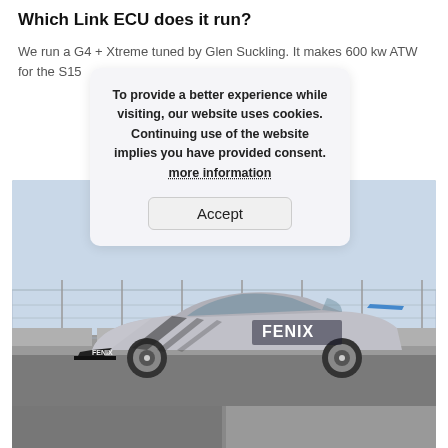Which Link ECU does it run?
We run a G4 + Xtreme tuned by Glen Suckling. It makes 600 kw ATW for the S15
To provide a better experience while visiting, our website uses cookies. Continuing use of the website implies you have provided consent. more information
Accept
[Figure (photo): A silver Nissan S15 Silvia drift car with Fenix livery and sponsor decals, parked on a race track with a metal fence in the background.]
[Figure (photo): Partial view of additional images at the bottom of the page.]